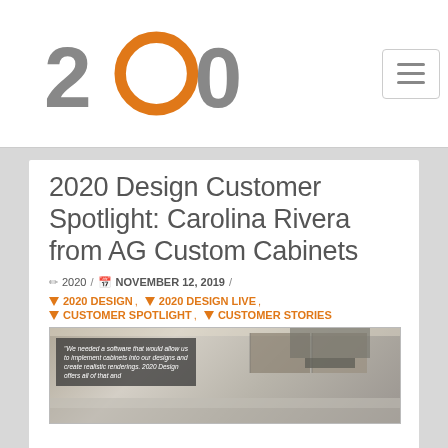2020 logo header with hamburger menu
2020 Design Customer Spotlight: Carolina Rivera from AG Custom Cabinets
2020 / NOVEMBER 12, 2019 /
2020 DESIGN, 2020 DESIGN LIVE, CUSTOMER SPOTLIGHT, CUSTOMER STORIES
[Figure (photo): Kitchen interior render with a dark quote overlay reading: 'We needed a software that would allow us to implement cabinets into our designs and create realistic renderings. 2020 Design offers all of that and...']